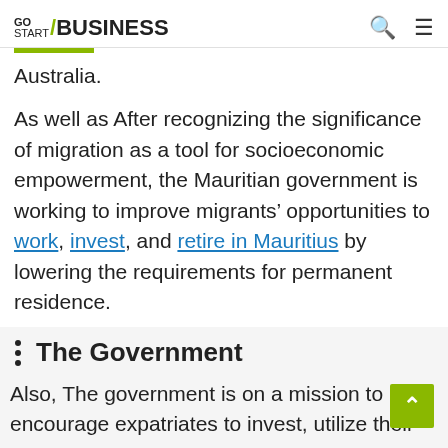GO START / BUSINESS
Australia.
As well as After recognizing the significance of migration as a tool for socioeconomic empowerment, the Mauritian government is working to improve migrants’ opportunities to work, invest, and retire in Mauritius by lowering the requirements for permanent residence.
The Government
Also, The government is on a mission to encourage expatriates to invest, utilize their